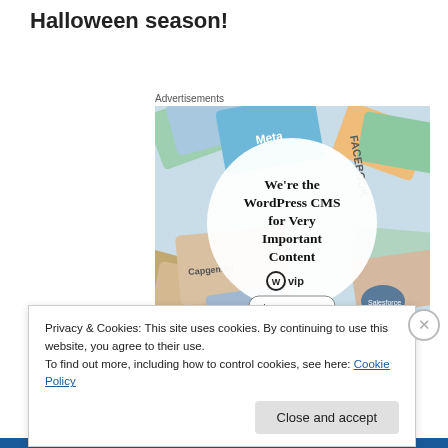Halloween season!
Advertisements
[Figure (illustration): Advertisement banner for WordPress VIP CMS showing colorful overlapping cards/books with brand logos (Meta, Facebook, Capgemini, Salesforce, etc.) surrounding a central white circle with text: We're the WordPress CMS for Very Important Content, WordPress VIP logo, and a 'Learn more' button.]
Privacy & Cookies: This site uses cookies. By continuing to use this website, you agree to their use.
To find out more, including how to control cookies, see here: Cookie Policy
Close and accept